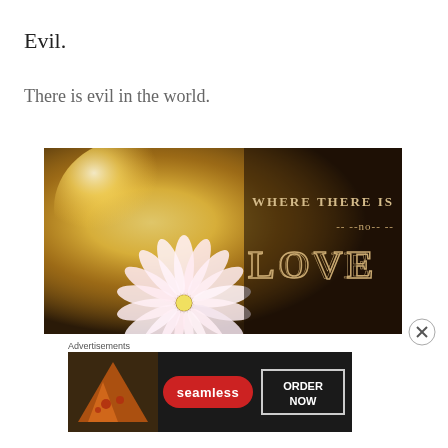Evil.
There is evil in the world.
[Figure (photo): An inspirational photo of a white flower with sunlight, overlaid with text reading 'WHERE THERE IS --no-- LOVE' in a vintage/retro typographic style on a dark background.]
Advertisements
[Figure (photo): A Seamless food delivery advertisement banner showing pizza slices on the left, a red Seamless logo in the center, and an 'ORDER NOW' button on the right, on a dark background.]